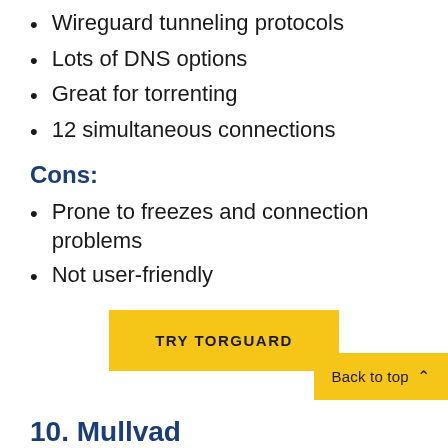Wireguard tunneling protocols
Lots of DNS options
Great for torrenting
12 simultaneous connections
Cons:
Prone to freezes and connection problems
Not user-friendly
TRY TORGUARD
Back to top
10. Mullvad